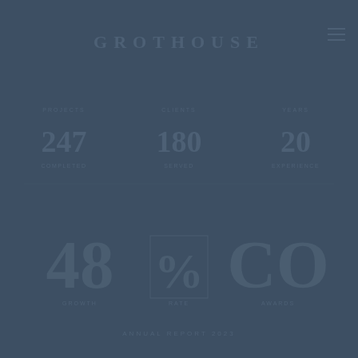GROTHOUSE
[Figure (illustration): Dark navy blue background with faint watermark/ghost text showing numbers and labels for a portfolio or report cover page. Features the GROTHOUSE brand name at top, menu icon top right, large central number displays, and decorative layout elements all in a slightly lighter shade of navy.]